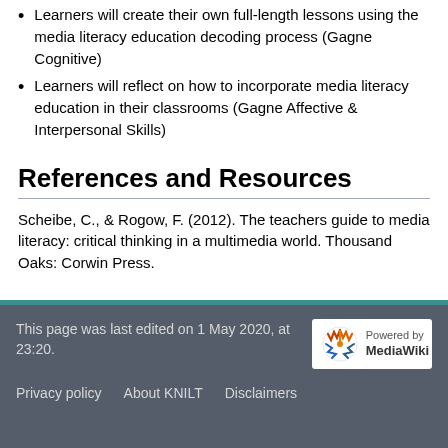Learners will create their own full-length lessons using the media literacy education decoding process (Gagne Cognitive)
Learners will reflect on how to incorporate media literacy education in their classrooms (Gagne Affective & Interpersonal Skills)
References and Resources
Scheibe, C., & Rogow, F. (2012). The teachers guide to media literacy: critical thinking in a multimedia world. Thousand Oaks: Corwin Press.
This page was last edited on 1 May 2020, at 23:20.
Privacy policy   About KNILT   Disclaimers